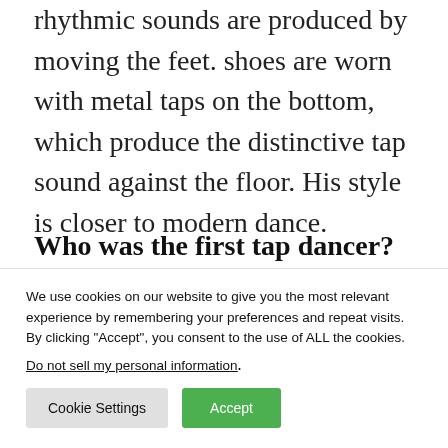rhythmic sounds are produced by moving the feet. shoes are worn with metal taps on the bottom, which produce the distinctive tap sound against the floor. His style is closer to modern dance.
Who was the first tap dancer?
We use cookies on our website to give you the most relevant experience by remembering your preferences and repeat visits. By clicking “Accept”, you consent to the use of ALL the cookies.
Do not sell my personal information.